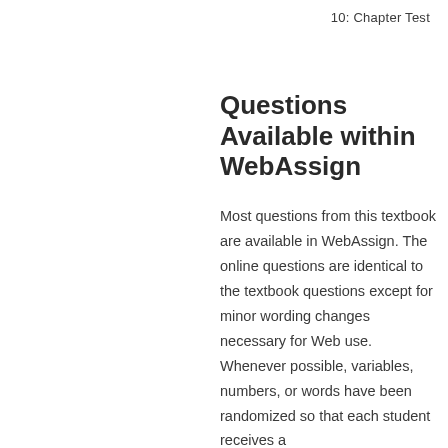10: Chapter Test
Questions Available within WebAssign
Most questions from this textbook are available in WebAssign. The online questions are identical to the textbook questions except for minor wording changes necessary for Web use. Whenever possible, variables, numbers, or words have been randomized so that each student receives a